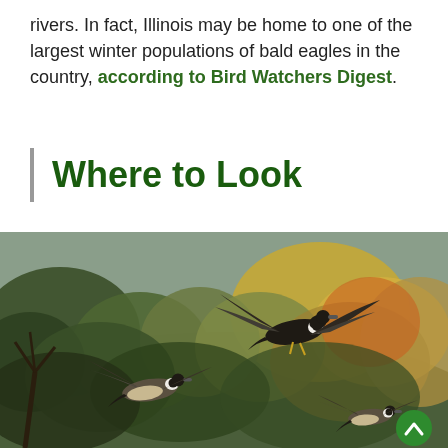rivers. In fact, Illinois may be home to one of the largest winter populations of bald eagles in the country, according to Bird Watchers Digest.
Where to Look
[Figure (photo): Three Canada geese in flight against a background of autumn trees on a hillside. A scroll-to-top button (green circle with upward chevron) is visible in the bottom right.]